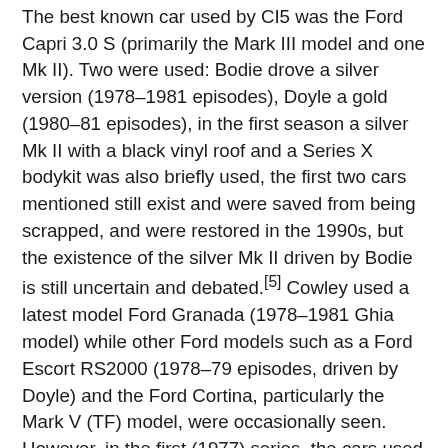The best known car used by CI5 was the Ford Capri 3.0 S (primarily the Mark III model and one Mk II). Two were used: Bodie drove a silver version (1978–1981 episodes), Doyle a gold (1980–81 episodes), in the first season a silver Mk II with a black vinyl roof and a Series X bodykit was also briefly used, the first two cars mentioned still exist and were saved from being scrapped, and were restored in the 1990s, but the existence of the silver Mk II driven by Bodie is still uncertain and debated.[5] Cowley used a latest model Ford Granada (1978–1981 Ghia model) while other Ford models such as a Ford Escort RS2000 (1978–79 episodes, driven by Doyle) and the Ford Cortina, particularly the Mark V (TF) model, were occasionally seen. However, in the first (1977) series, the cars used were mainly those of British